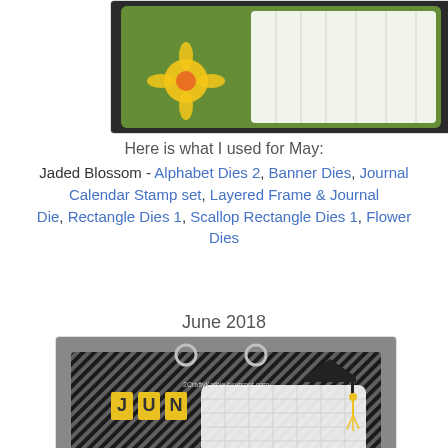[Figure (photo): Handmade May 2018 calendar page with yellow flower embellishment on green polka-dot background with black border]
Here is what I used for May:
Jaded Blossom - Alphabet Dies 2, Banner Dies, Journal Calendar Stamp set, Layered Frame & Journal Die, Rectangle Dies 1, Scallop Rectangle Dies 1, Flower Dies
June 2018
[Figure (photo): Handmade June 2018 calendar page with yellow block letters J-U-N-E on black background with graduation cap embellishment and ring binder]
Here is what I used for June: